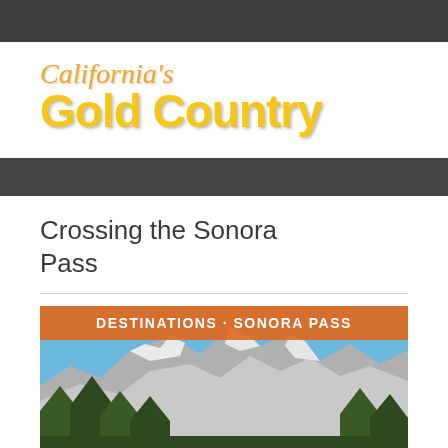California's Gold Country
Crossing the Sonora Pass
[Figure (photo): Mountain landscape with rocky snow-dusted peaks, pine trees in foreground, blue sky. Banner overlay reads: DESTINATIONS · SONORA PASS]